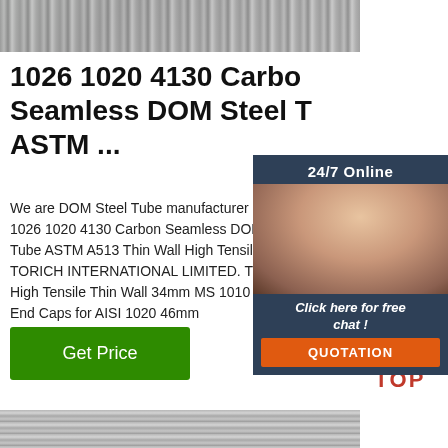[Figure (photo): Steel tubes/rods bundled together, metallic grey tones]
1026 1020 4130 Carbon Seamless DOM Steel T ASTM ...
We are DOM Steel Tube manufacturer & 1026 1020 4130 Carbon Seamless DOM Tube ASTM A513 Thin Wall High Tensile TORICH INTERNATIONAL LIMITED. TC High Tensile Thin Wall 34mm MS 1010 P End Caps for AISI 1020 46mm
[Figure (photo): 24/7 Online chat widget with woman customer service representative wearing headset]
[Figure (illustration): Get Price green button]
[Figure (logo): TOP logo with orange dot triangle icon]
[Figure (photo): Metal sheets or tubes, grey industrial material, bottom of page]